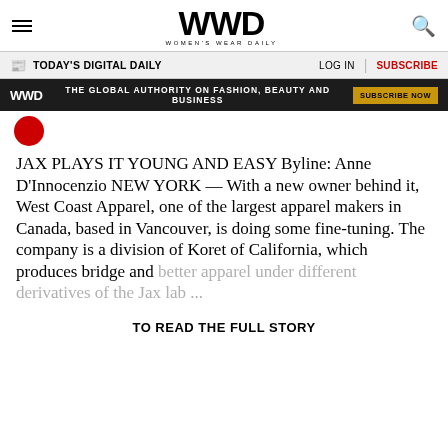WWD WOMEN'S WEAR DAILY
TODAY'S DIGITAL DAILY | LOG IN | SUBSCRIBE
[Figure (infographic): WWD dark banner ad: THE GLOBAL AUTHORITY ON FASHION, BEAUTY AND BUSINESS — SUBSCRIBE NOW button]
JAX PLAYS IT YOUNG AND EASY Byline: Anne D'Innocenzio NEW YORK — With a new owner behind it, West Coast Apparel, one of the largest apparel makers in Canada, based in Vancouver, is doing some fine-tuning. The company is a division of Koret of California, which produces bridge and better apparel under different derivatives of the Jax lab ...
TO READ THE FULL STORY